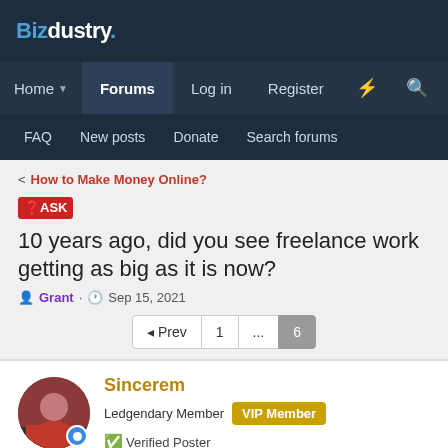Bizdustry.
Home   Forums   Log in   Register
FAQ  New posts  Donate  Search forums
< How to Make Money Online?
❓ASK 10 years ago, did you see freelance work getting as big as it is now?
Grant · Sep 15, 2021
◄ Prev  1  ...  6
Sincerem
Ledgendary Member  VIP Member  ✅ Verified Poster
Feb 22, 2022  #101